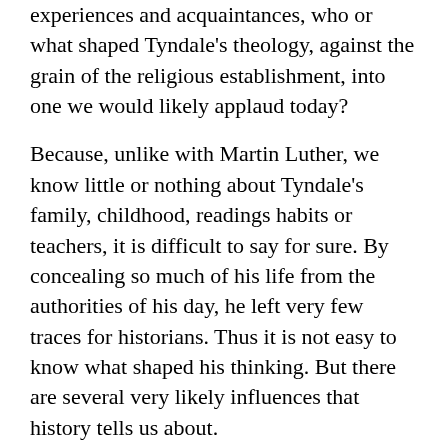experiences and acquaintances, who or what shaped Tyndale's theology, against the grain of the religious establishment, into one we would likely applaud today?
Because, unlike with Martin Luther, we know little or nothing about Tyndale's family, childhood, readings habits or teachers, it is difficult to say for sure. By concealing so much of his life from the authorities of his day, he left very few traces for historians. Thus it is not easy to know what shaped his thinking. But there are several very likely influences that history tells us about.
The Renaissance Thinkers
A major force in the late 15th and early 16th centuries